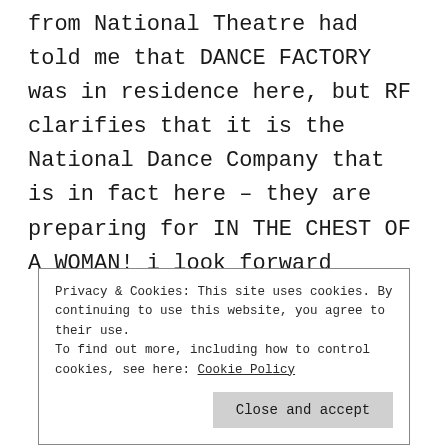from National Theatre had told me that DANCE FACTORY was in residence here, but RF clarifies that it is the National Dance Company that is in fact here – they are preparing for IN THE CHEST OF A WOMAN! i look forward
Privacy & Cookies: This site uses cookies. By continuing to use this website, you agree to their use.
To find out more, including how to control cookies, see here: Cookie Policy

Close and accept